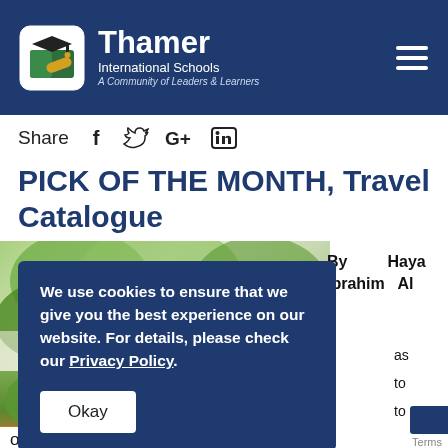Thamer International Schools — A Community of Leaders & Learners
Share
PICK OF THE MONTH, Travel Catalogue
By Haya Ibrahim Al
as to to
We use cookies to ensure that we give you the best experience on our website. For details, please check our Privacy Policy
open to doing
Terms